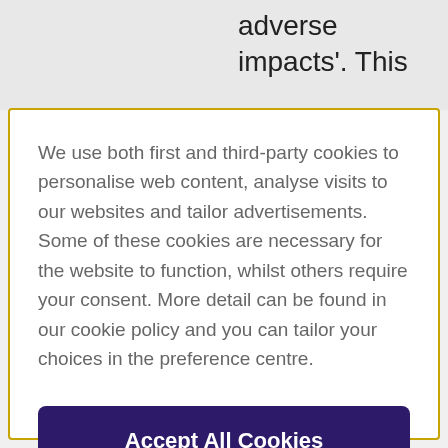adverse impacts'. This
We use both first and third-party cookies to personalise web content, analyse visits to our websites and tailor advertisements. Some of these cookies are necessary for the website to function, whilst others require your consent. More detail can be found in our cookie policy and you can tailor your choices in the preference centre.
Accept All Cookies
Cookies Settings